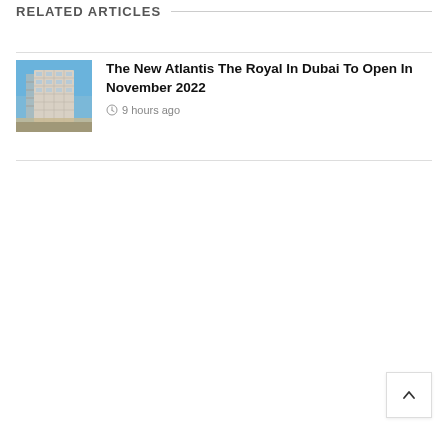RELATED ARTICLES
[Figure (photo): Exterior photo of Atlantis The Royal hotel building in Dubai under blue sky]
The New Atlantis The Royal In Dubai To Open In November 2022
9 hours ago